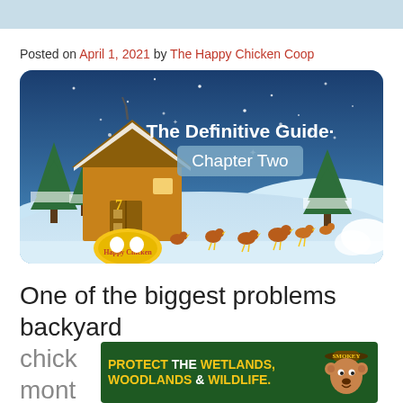Posted on April 1, 2021 by The Happy Chicken Coop
[Figure (illustration): Winter scene illustration: 'The Definitive Guide - Chapter Two' banner with a snowy backyard, a rustic chicken coop, pine trees, chickens walking in snow, and The Happy Chicken Coop logo at bottom left]
One of the biggest problems backyard chick... mont...
[Figure (infographic): Advertisement banner: 'PROTECT THE WETLANDS, WOODLANDS & WILDLIFE.' with a cartoon Smokey Bear ranger on the right]